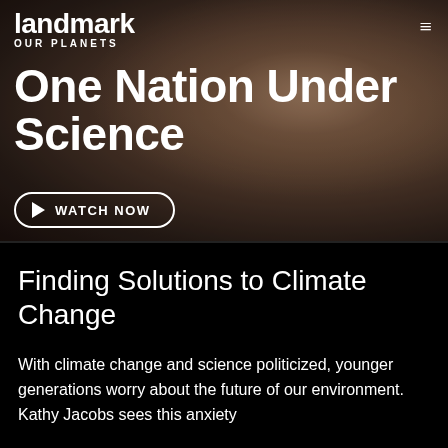[Figure (screenshot): Hero image of a woman (Kathy Jacobs) looking to the left, overlaid with navigation bar, title text, and a 'Watch Now' button. Background shows a warm-toned outdoor scene.]
landmark OUR PLANETS
One Nation Under Science
▶  WATCH NOW
Finding Solutions to Climate Change
With climate change and science politicized, younger generations worry about the future of our environment. Kathy Jacobs sees this anxiety